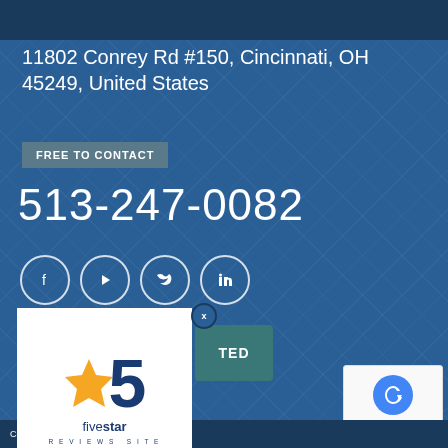11802 Conrey Rd #150, Cincinnati, OH 45249, United States
FREE TO CONTACT
513-247-0082
[Figure (illustration): Social media icons: Facebook, YouTube, Twitter, LinkedIn in white circles]
[Figure (other): Five Star Reviews Site popup widget with star graphic and number 5, click here to read reviews or post a new review]
[Figure (other): reCAPTCHA widget showing Privacy - Terms]
Copyright © 2005-2022. All Rights Reserved.